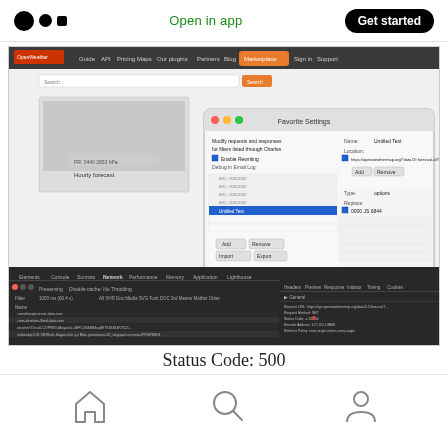[Figure (screenshot): Medium app header with logo, Open in app link, and Get started button]
[Figure (screenshot): Browser screenshot showing OpenWeather website with a macOS Favorites Settings dialog open over it, and Chrome DevTools Network panel showing a request with Status Code 500]
Status Code: 500
[Figure (screenshot): Bottom navigation bar with home, search, and profile icons]